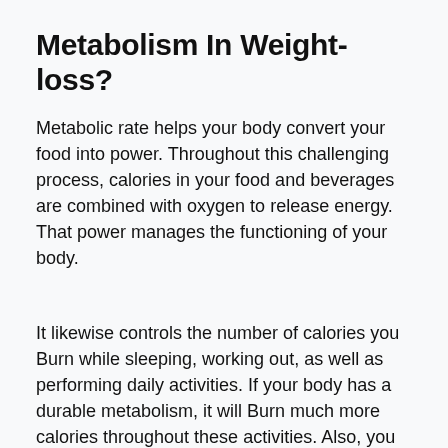Metabolism In Weight-loss?
Metabolic rate helps your body convert your food into power. Throughout this challenging process, calories in your food and beverages are combined with oxygen to release energy. That power manages the functioning of your body.
It likewise controls the number of calories you Burn while sleeping, working out, as well as performing daily activities. If your body has a durable metabolism, it will Burn much more calories throughout these activities. Also, you will certainly really feel much more energised and charged with a far better metabolic process price.